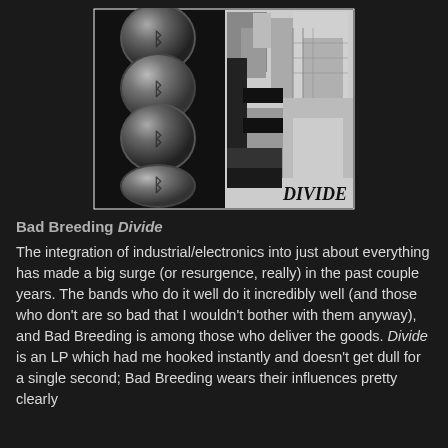[Figure (photo): Black and white album cover for Bad Breeding's 'Divide'. Left side shows four spherical objects stacked vertically with a rune-like 'B' symbol on each. Right side shows an urban/architectural collage with buildings. The word 'DIVIDE' appears at the bottom right in bold serif text.]
Bad Breeding Divide
The integration of industrial/electronics into just about everything has made a big surge (or resurgence, really) in the past couple years. The bands who do it well do it incredibly well (and those who don't are so bad that I wouldn't bother with them anyway), and Bad Breeding is among those who deliver the goods. Divide is an LP which had me hooked instantly and doesn't get dull for a single second; Bad Breeding wears their influences pretty clearly